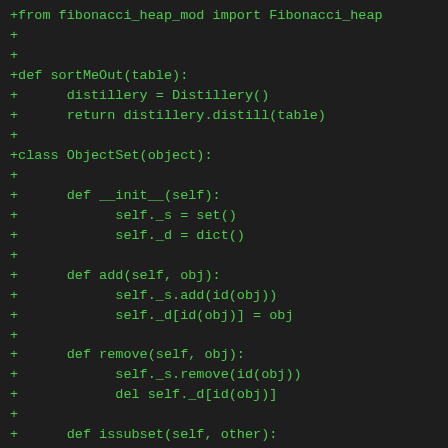[Figure (screenshot): Code diff snippet showing Python source code additions in green monospace font on a dark background. The code includes a function sortMeOut, a class ObjectSet with __init__, add, remove, and issubset methods.]